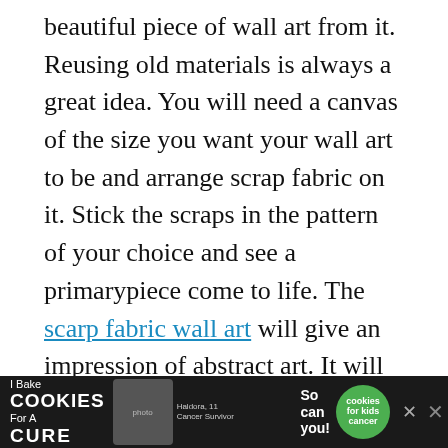beautiful piece of wall art from it. Reusing old materials is always a great idea. You will need a canvas of the size you want your wall art to be and arrange scrap fabric on it. Stick the scraps in the pattern of your choice and see a primarypiece come to life. The scarp fabric wall art will give an impression of abstract art. It will add an instant pop of colors to your living space. If your living space consists of furniture in soft tones, adding a bold wall art will make the entire room come to life.
10. Embroidery Hoop Wall Art
[Figure (other): Advertisement banner: I Bake COOKIES For A CURE with photo of girl and cookies-for-kids-cancer badge]